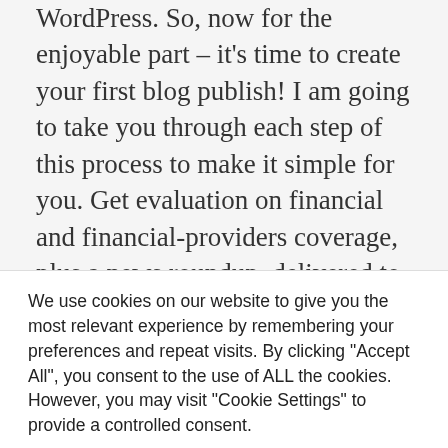WordPress. So, now for the enjoyable part – it's time to create your first blog publish! I am going to take you through each step of this process to make it simple for you. Get evaluation on financial and financial-providers coverage, plus a news roundup, delivered to your inbox each weekday. Another plus is which you can you can even add Google Analytics on your Blogger web site to actually track the traffic and conversion in your website. There are a number of more Devices you could choose from, however in all b...
We use cookies on our website to give you the most relevant experience by remembering your preferences and repeat visits. By clicking "Accept All", you consent to the use of ALL the cookies. However, you may visit "Cookie Settings" to provide a controlled consent.